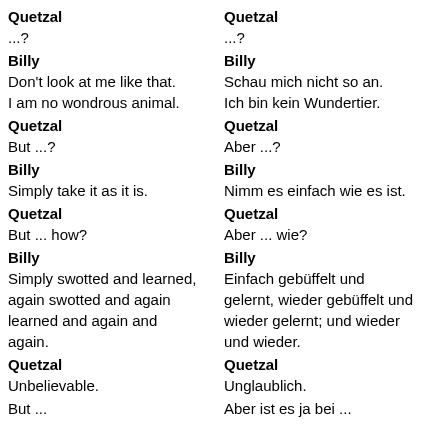Quetzal
...?
Quetzal
...?
Billy
Don't look at me like that.
I am no wondrous animal.
Billy
Schau mich nicht so an.
Ich bin kein Wundertier.
Quetzal
But ...?
Quetzal
Aber ...?
Billy
Simply take it as it is.
Billy
Nimm es einfach wie es ist.
Quetzal
But ... how?
Quetzal
Aber ... wie?
Billy
Simply swotted and learned, again swotted and again learned and again and again.
Billy
Einfach gebüffelt und gelernt, wieder gebüffelt und wieder gelernt; und wieder und wieder.
Quetzal
Unbelievable.
Quetzal
Unglaublich.
But ...
Aber ist es ja bei ...